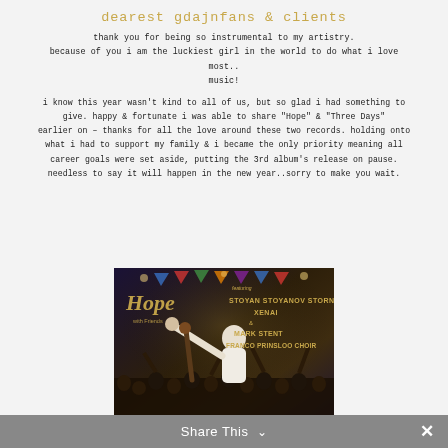dearest gdajnfans & clients
thank you for being so instrumental to my artistry.
because of you i am the luckiest girl in the world to do what i love most..
music!
i know this year wasn't kind to all of us, but so glad i had something to give. happy & fortunate i was able to share "Hope" & "Three Days" earlier on – thanks for all the love around these two records. holding onto what i had to support my family & i became the only priority meaning all career goals were set aside, putting the 3rd album's release on pause. needless to say it will happen in the new year..sorry to make you wait.
[Figure (photo): Concert/event photo showing 'Hope with Friends' album/event artwork with crowd and performers. Text overlay: featuring STOYAN STOYANOV STORN, XENAI, & MARK STENT, FRANCO PRINSLOO CHOIR]
Share This  ∨  ✕